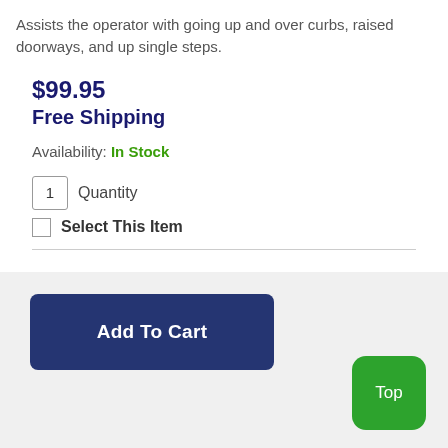Assists the operator with going up and over curbs, raised doorways, and up single steps.
$99.95
Free Shipping
Availability: In Stock
1 Quantity
Select This Item
Add To Cart
Top